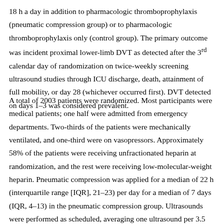18 h a day in addition to pharmacologic thromboprophylaxis (pneumatic compression group) or to pharmacologic thromboprophylaxis only (control group). The primary outcome was incident proximal lower-limb DVT as detected after the 3rd calendar day of randomization on twice-weekly screening ultrasound studies through ICU discharge, death, attainment of full mobility, or day 28 (whichever occurred first). DVT detected on days 1–3 was considered prevalent.
A total of 2003 patients were randomized. Most participants were medical patients; one half were admitted from emergency departments. Two-thirds of the patients were mechanically ventilated, and one-third were on vasopressors. Approximately 58% of the patients were receiving unfractionated heparin at randomization, and the rest were receiving low-molecular-weight heparin. Pneumatic compression was applied for a median of 22 h (interquartile range [IQR], 21–23) per day for a median of 7 days (IQR, 4–13) in the pneumatic compression group. Ultrasounds were performed as scheduled, averaging one ultrasound per 3.5 days in the pneumatic compression group and per 3.8 days in the control group. The primary outcome of incident proximal DVT was not different between the two groups: 3.9% in the pneumatic compression group and 4.2% in the control group (relative risk [RR], 0.93; 95% confidence interval [CI],